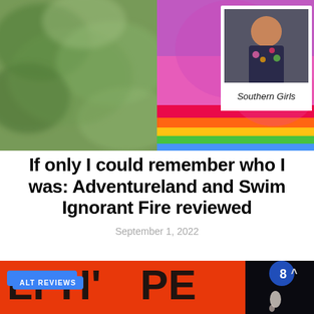[Figure (photo): Two images side by side: left is an abstract green watercolor texture; right is a colorful Polaroid-style photo of a person with text 'Southern Girls' handwritten below on the Polaroid border, placed on a rainbow-colored background.]
If only I could remember who I was: Adventureland and Swim Ignorant Fire reviewed
September 1, 2022
[Figure (photo): Bottom image showing two panels: left is a red/orange background with large black letters 'LPH' and 'PE' visible, partially cropped, with an 'ALT REVIEWS' blue badge; right panel is a dark/black background with a glowing blue circle and a drip shape.]